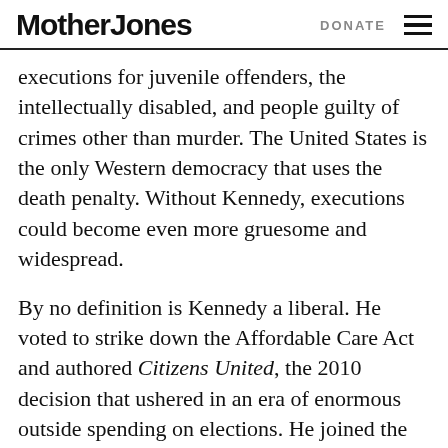Mother Jones | DONATE
executions for juvenile offenders, the intellectually disabled, and people guilty of crimes other than murder. The United States is the only Western democracy that uses the death penalty. Without Kennedy, executions could become even more gruesome and widespread.
By no definition is Kennedy a liberal. He voted to strike down the Affordable Care Act and authored Citizens United, the 2010 decision that ushered in an era of enormous outside spending on elections. He joined the conservative justices in gutting voting rights in 2013, when the court knocked out a key provision of the 1965 Voting Rights Act. Just this